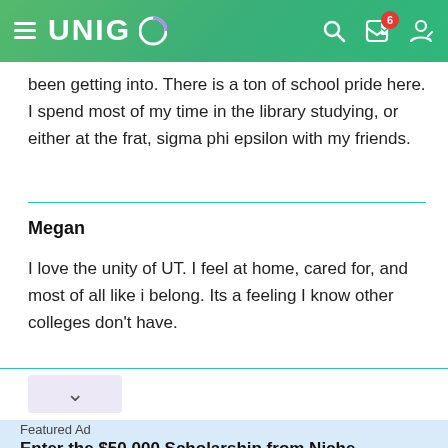UNIGO
been getting into. There is a ton of school pride here. I spend most of my time in the library studying, or either at the frat, sigma phi epsilon with my friends.
Megan
I love the unity of UT. I feel at home, cared for, and most of all like i belong. Its a feeling I know other colleges don't have.
Featured Ad
Enter the $50,000 Scholarship from Niche.
Last day to enter is August 31st
APPLY NOW!